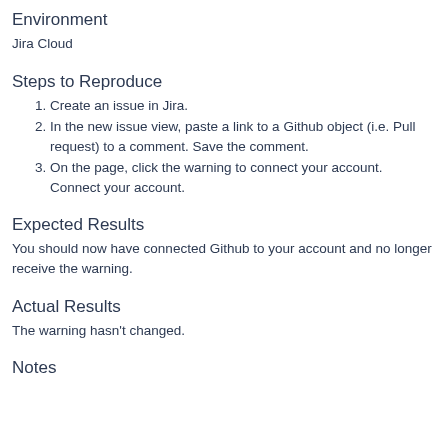Environment
Jira Cloud
Steps to Reproduce
Create an issue in Jira.
In the new issue view, paste a link to a Github object (i.e. Pull request) to a comment. Save the comment.
On the page, click the warning to connect your account. Connect your account.
Expected Results
You should now have connected Github to your account and no longer receive the warning.
Actual Results
The warning hasn't changed.
Notes